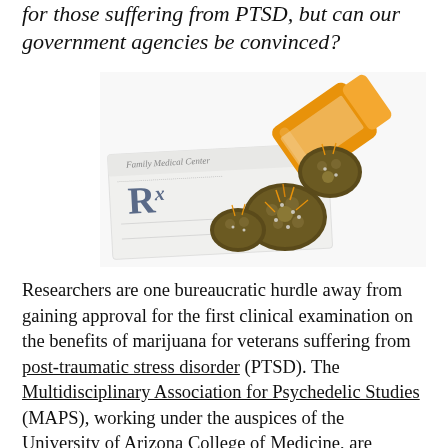for those suffering from PTSD, but can our government agencies be convinced?
[Figure (photo): A prescription pad with 'Rx' visible and an orange pill bottle tipped over spilling marijuana buds onto the white surface.]
Researchers are one bureaucratic hurdle away from gaining approval for the first clinical examination on the benefits of marijuana for veterans suffering from post-traumatic stress disorder (PTSD). The Multidisciplinary Association for Psychedelic Studies (MAPS), working under the auspices of the University of Arizona College of Medicine, are